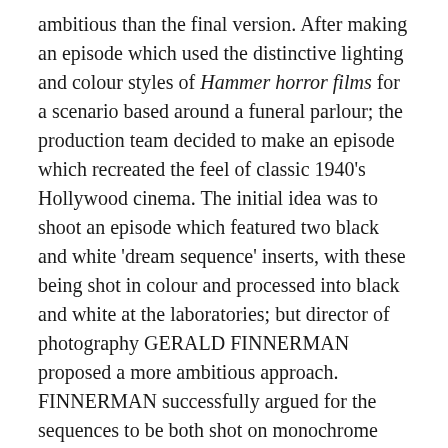ambitious than the final version. After making an episode which used the distinctive lighting and colour styles of Hammer horror films for a scenario based around a funeral parlour; the production team decided to make an episode which recreated the feel of classic 1940's Hollywood cinema. The initial idea was to shoot an episode which featured two black and white 'dream sequence' inserts, with these being shot in colour and processed into black and white at the laboratories; but director of photography GERALD FINNERMAN proposed a more ambitious approach. FINNERMAN successfully argued for the sequences to be both shot on monochrome film stock and filmed in different styles based on the contrasting 'house styles' of MGM and WARNER BROTHERS during the 1940s. Since this required each dream sequence to be shot with different lighting set-ups and required additional work to get visual effect s not usually attempted in standard television colour production, the episode proved significantly more